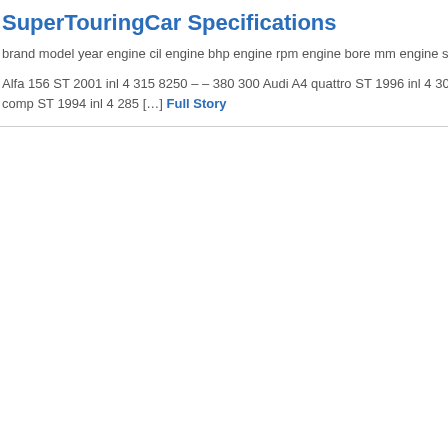SuperTouringCar Specifications
brand model year engine cil engine bhp engine rpm engine bore mm engine stroke m
Alfa 156 ST 2001 inl 4 315 8250 – – 380 300 Audi A4 quattro ST 1996 inl 4 300 8250 comp ST 1994 inl 4 285 […] Full Story